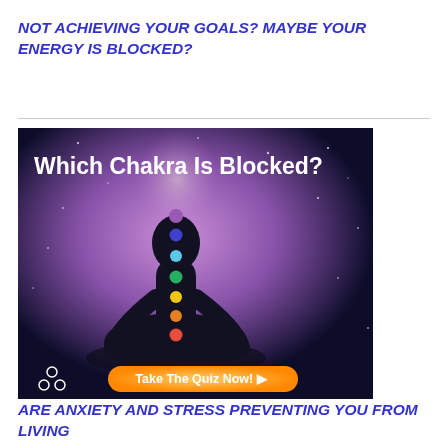NOT ACHIEVING YOUR GOALS? MAYBE YOUR ENERGY IS BLOCKED?
[Figure (illustration): Advertisement image showing a silhouette of a person meditating in lotus position with seven chakra dots (violet, indigo, blue, green, yellow, orange, red) along the body, set against a purple/cosmic background with stars. Text reads 'Which Chakra Is Blocked?' at the top and a button at the bottom reads 'Take The Quiz Now!' with a small chakra logo on the lower left.]
ARE ANXIETY AND STRESS PREVENTING YOU FROM LIVING